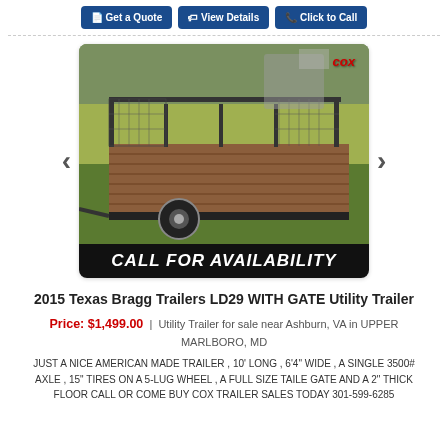Get a Quote | View Details | Click to Call
[Figure (photo): Photo of a 2015 Texas Bragg utility trailer with gate, wooden deck floor, metal railing sides, single axle. 'CALL FOR AVAILABILITY' banner overlaid at the bottom. COX logo visible in top right of photo.]
2015 Texas Bragg Trailers LD29 WITH GATE Utility Trailer
Price: $1,499.00 | Utility Trailer for sale near Ashburn, VA in UPPER MARLBORO, MD
JUST A NICE AMERICAN MADE TRAILER , 10' LONG , 6'4" WIDE , A SINGLE 3500# AXLE , 15" TIRES ON A 5-LUG WHEEL , A FULL SIZE TAILE GATE AND A 2" THICK FLOOR CALL OR COME BUY COX TRAILER SALES TODAY 301-599-6285